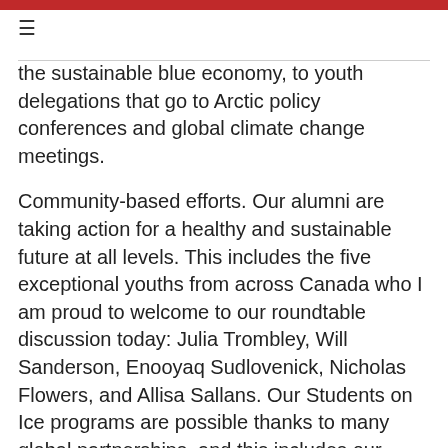≡
the sustainable blue economy, to youth delegations that go to Arctic policy conferences and global climate change meetings.
Community-based efforts. Our alumni are taking action for a healthy and sustainable future at all levels. This includes the five exceptional youths from across Canada who I am proud to welcome to our roundtable discussion today: Julia Trombley, Will Sanderson, Enooyaq Sudlovenick, Nicholas Flowers, and Allisa Sallans. Our Students on Ice programs are possible thanks to many global partnerships, and this includes our great friends at the U.S. embassy in Canada who have been supporting youth and educators on our expeditions and have helped to make the event today possible. So thank you.